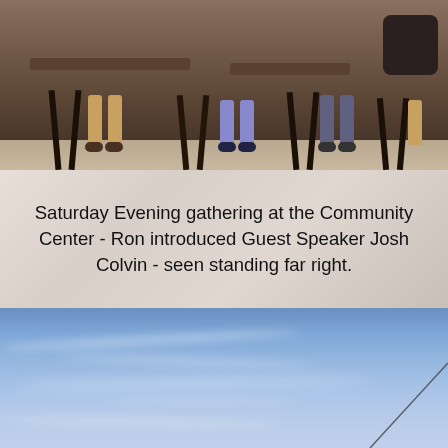[Figure (photo): Photo of people seated at a community center gathering, chairs and legs/feet visible, dark bag on right side]
Saturday Evening gathering at the Community Center - Ron introduced Guest Speaker Josh Colvin - seen standing far right.
[Figure (photo): Photo of a blue sky with wispy clouds and a diagonal wire or cable visible in lower right]